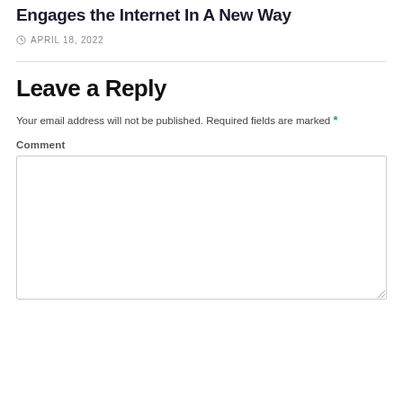Engages the Internet In A New Way
APRIL 18, 2022
Leave a Reply
Your email address will not be published. Required fields are marked *
Comment